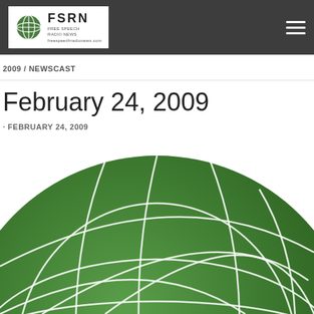FSRN FREE SPEECH RADIO NEWS
2009 / NEWSCAST
February 24, 2009
· FEBRUARY 24, 2009
[Figure (illustration): Large green globe logo with white latitude/longitude grid lines, partially cropped at bottom of page — the FSRN Free Speech Radio News globe symbol]